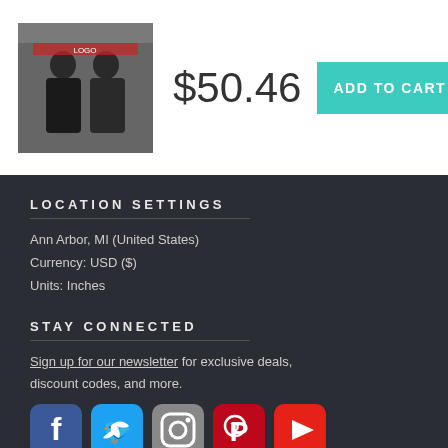[Figure (photo): Product thumbnail showing two people wearing baseball jackets]
$50.46
ADD TO CART
LOCATION SETTINGS
Ann Arbor, MI (United States)
Currency: USD ($)
Units: Inches
STAY CONNECTED
Sign up for our newsletter for exclusive deals, discount codes, and more.
[Figure (infographic): Social media icons: Facebook, Twitter, Instagram, Pinterest, YouTube]
MLB trademarks and copyrights are used with permission of Major League Baseball - Visit MLB.com - Website Powered by Fine Art America / Pixels - Original Source